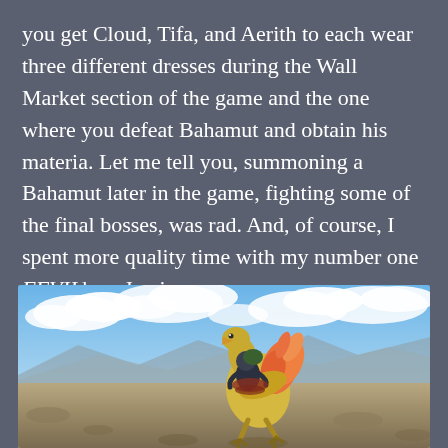you get Cloud, Tifa, and Aerith to each wear three different dresses during the Wall Market section of the game and the one where you defeat Bahamut and obtain his materia. Let me tell you, summoning a Bahamut later in the game, fighting some of the final bosses, was rad. And, of course, I spent more quality time with my number one FFVII bae, Jessie.
[Figure (photo): A person riding a large yellow chocobo bird in a desert landscape under a partly cloudy blue sky. The chocobo has orange feather plumage visible on its back. The terrain is dry and rocky with distant mountains.]